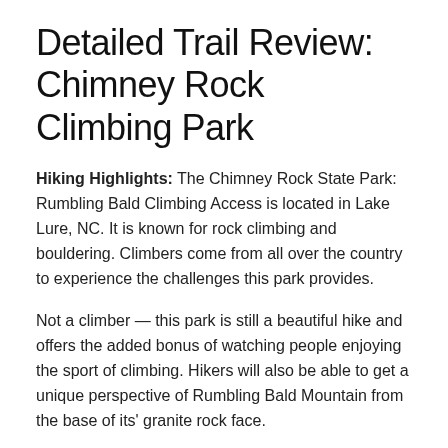Detailed Trail Review: Chimney Rock Climbing Park
Hiking Highlights: The Chimney Rock State Park: Rumbling Bald Climbing Access is located in Lake Lure, NC. It is known for rock climbing and bouldering. Climbers come from all over the country to experience the challenges this park provides.
Not a climber — this park is still a beautiful hike and offers the added bonus of watching people enjoying the sport of climbing. Hikers will also be able to get a unique perspective of Rumbling Bald Mountain from the base of its' granite rock face.